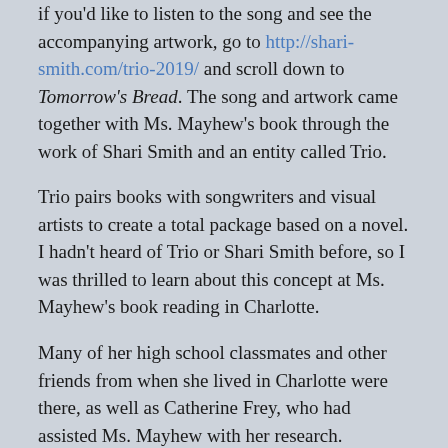if you'd like to listen to the song and see the accompanying artwork, go to http://shari-smith.com/trio-2019/ and scroll down to Tomorrow's Bread. The song and artwork came together with Ms. Mayhew's book through the work of Shari Smith and an entity called Trio.
Trio pairs books with songwriters and visual artists to create a total package based on a novel. I hadn't heard of Trio or Shari Smith before, so I was thrilled to learn about this concept at Ms. Mayhew's book reading in Charlotte.
Many of her high school classmates and other friends from when she lived in Charlotte were there, as well as Catherine Frey, who had assisted Ms. Mayhew with her research.
I was
[Figure (photo): Colorful photograph showing a vibrant scene with red, blue, yellow and other colors visible]